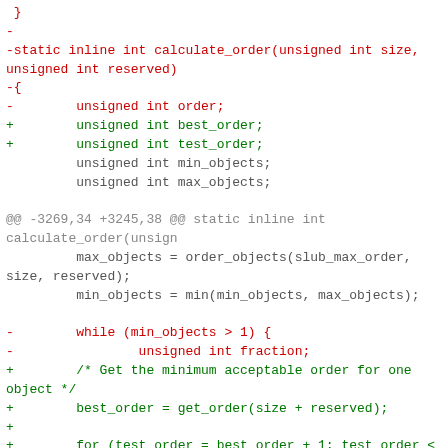Code diff showing changes to calculate_order function in a C source file, including variable renaming and logic restructuring.